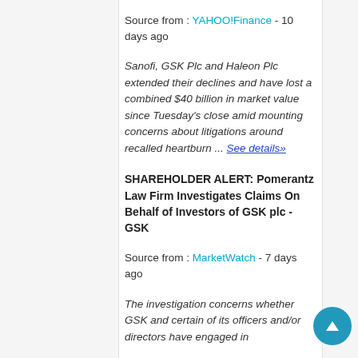Source from : YAHOO!Finance - 10 days ago
Sanofi, GSK Plc and Haleon Plc extended their declines and have lost a combined $40 billion in market value since Tuesday's close amid mounting concerns about litigations around recalled heartburn ... See details»
SHAREHOLDER ALERT: Pomerantz Law Firm Investigates Claims On Behalf of Investors of GSK plc - GSK
Source from : MarketWatch - 7 days ago
The investigation concerns whether GSK and certain of its officers and/or directors have engaged in